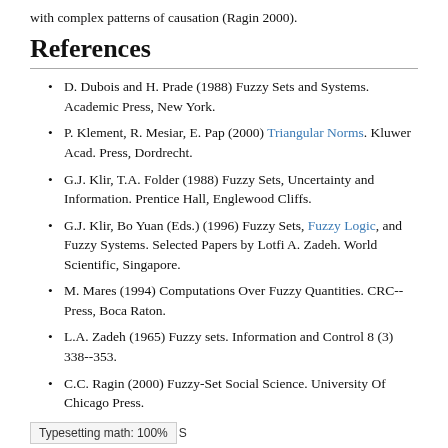with complex patterns of causation (Ragin 2000).
References
D. Dubois and H. Prade (1988) Fuzzy Sets and Systems. Academic Press, New York.
P. Klement, R. Mesiar, E. Pap (2000) Triangular Norms. Kluwer Acad. Press, Dordrecht.
G.J. Klir, T.A. Folder (1988) Fuzzy Sets, Uncertainty and Information. Prentice Hall, Englewood Cliffs.
G.J. Klir, Bo Yuan (Eds.) (1996) Fuzzy Sets, Fuzzy Logic, and Fuzzy Systems. Selected Papers by Lotfi A. Zadeh. World Scientific, Singapore.
M. Mares (1994) Computations Over Fuzzy Quantities. CRC--Press, Boca Raton.
L.A. Zadeh (1965) Fuzzy sets. Information and Control 8 (3) 338--353.
C.C. Ragin (2000) Fuzzy-Set Social Science. University Of Chicago Press.
Typesetting math: 100%  S